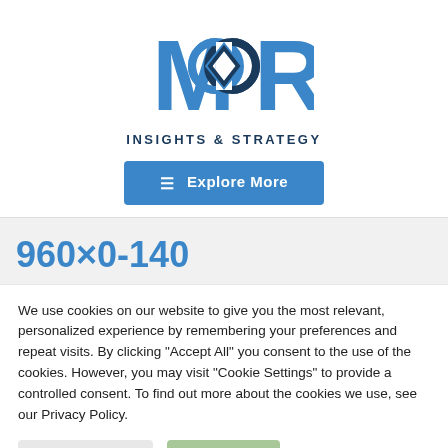[Figure (logo): Moor Insights & Strategy logo — stylized M and R letters in blue with interlocking diamond/loop shape in center, and 'Insights & Strategy' text below]
[Figure (other): Blue button with hamburger menu icon and text 'Explore More']
960×0-140
We use cookies on our website to give you the most relevant, personalized experience by remembering your preferences and repeat visits. By clicking "Accept All" you consent to the use of the cookies. However, you may visit "Cookie Settings" to provide a controlled consent. To find out more about the cookies we use, see our Privacy Policy.
Cookie Settings
Accept All